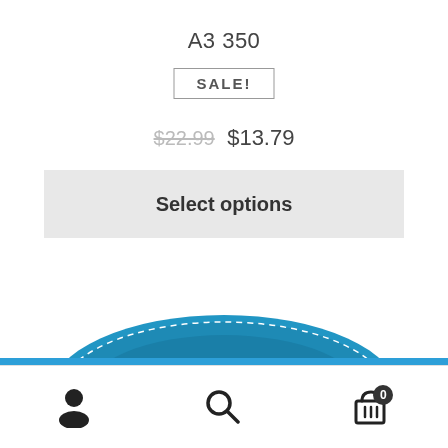A3 350
SALE!
$22.99  $13.79
Select options
[Figure (photo): Blue disc/frisbee partially visible at bottom of product area]
Good luck to all Canadian Nationals participants!
Dismiss